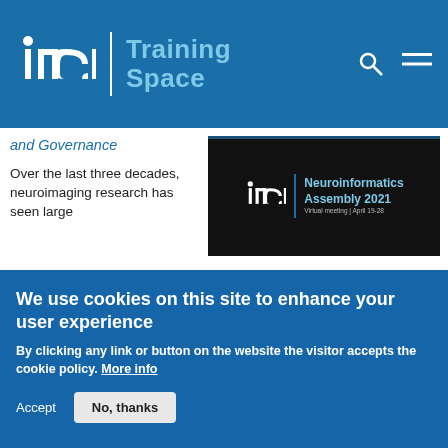INCF Training Space
and Governance
[Figure (screenshot): INCF Neuroinformatics Assembly 2021 banner — Virtual meeting | April 19-28]
Over the last three decades, neuroimaging research has seen large strides in the scale, diversity, and complexity of studies, the open availability of data and methodological resources, the quality of instrumentation and multimodal studies, and the number of researchers and consortia. The awareness of
We use cookies on this site to enhance your user experience
By clicking any link or button on the website the visitor accepts the cookie policy. More info
Accept
No, thanks